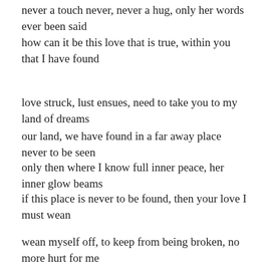never a touch never, never a hug, only her words ever been said
how can it be this love that is true, within you that I have found
love struck, lust ensues, need to take you to my land of dreams
our land, we have found in a far away place never to be seen
only then where I know full inner peace, her inner glow beams
if this place is never to be found, then your love I must wean
wean myself off, to keep from being broken, no more hurt for me